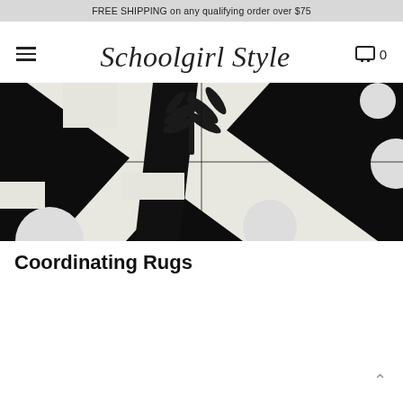FREE SHIPPING on any qualifying order over $75
[Figure (logo): Schoolgirl Style cursive script logo with hamburger menu icon on left and shopping cart with 0 on right]
[Figure (photo): Close-up photo of a black and white rug with geometric patterns including polka dots, stripes, and leaf/palm frond motifs]
Coordinating Rugs